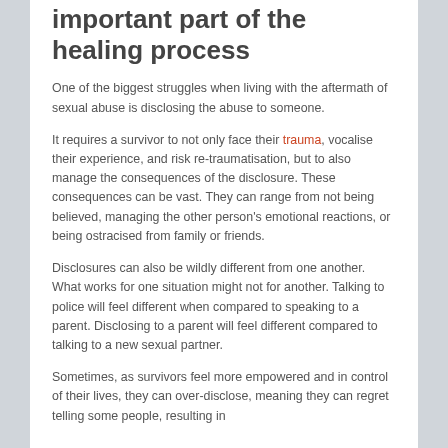important part of the healing process
One of the biggest struggles when living with the aftermath of sexual abuse is disclosing the abuse to someone.
It requires a survivor to not only face their trauma, vocalise their experience, and risk re-traumatisation, but to also manage the consequences of the disclosure. These consequences can be vast. They can range from not being believed, managing the other person's emotional reactions, or being ostracised from family or friends.
Disclosures can also be wildly different from one another. What works for one situation might not for another. Talking to police will feel different when compared to speaking to a parent. Disclosing to a parent will feel different compared to talking to a new sexual partner.
Sometimes, as survivors feel more empowered and in control of their lives, they can over-disclose, meaning they can regret telling some people, resulting in